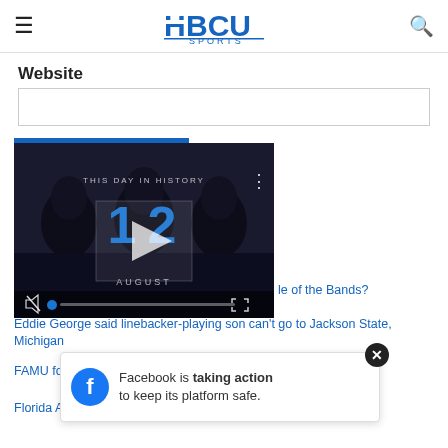HBCU Sports — navigation header
Website
[Figure (screenshot): Empty website text input field with border]
[Figure (photo): Video player thumbnail showing 'THIS DAY IN HISTORY' with date 12 AUGUST, play button overlay, mute button and progress bar controls]
le of the Bands?
Eddie George said linebacker-playing son can't go to Jackson State, Michigan
FAMU fo... ...nstra...s
Florida A&... ...ncern
[Figure (screenshot): Facebook overlay ad: 'Facebook is taking action to keep its platform safe.' with Facebook icon and close (X) button]